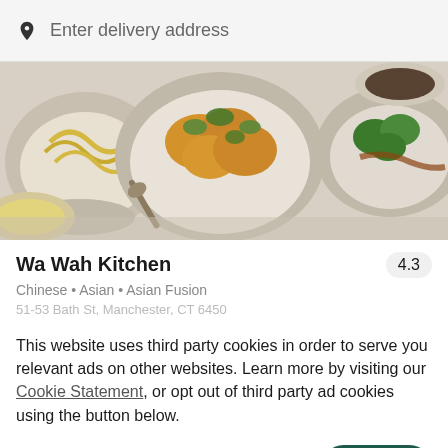Enter delivery address
[Figure (photo): Food photo showing bowls of Asian dishes including roasted cauliflower and broccoli with sauce]
Wa Wah Kitchen
4.3
Chinese • Asian • Asian Fusion
This website uses third party cookies in order to serve you relevant ads on other websites. Learn more by visiting our Cookie Statement, or opt out of third party ad cookies using the button below.
OPT OUT
GOT IT